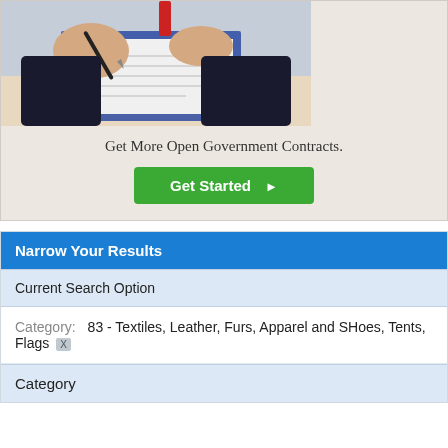[Figure (photo): Person in a suit signing documents with a pen on a clipboard]
Get More Open Government Contracts.
Get Started ▶
Narrow Your Results
Current Search Option
Category: 83 - Textiles, Leather, Furs, Apparel and SHoes, Tents, Flags X
Category